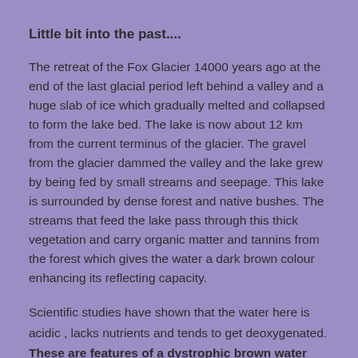Little bit into the past....
The retreat of the Fox Glacier 14000 years ago at the end of the last glacial period left behind a valley and a huge slab of ice which gradually melted and collapsed to form the lake bed. The lake is now about 12 km from the current terminus of the glacier. The gravel from the glacier dammed the valley and the lake grew by being fed by small streams and seepage. This lake is surrounded by dense forest and native bushes. The streams that feed the lake pass through this thick vegetation and carry organic matter and tannins from the forest which gives the water a dark brown colour enhancing its reflecting capacity.
Scientific studies have shown that the water here is acidic , lacks nutrients and tends to get deoxygenated. These are features of a dystrophic brown water lake